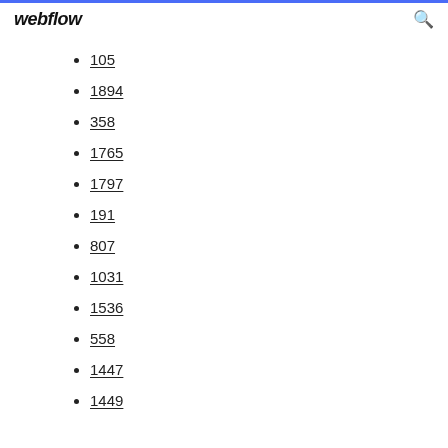webflow
105
1894
358
1765
1797
191
807
1031
1536
558
1447
1449